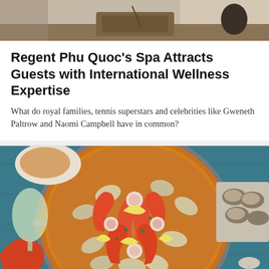[Figure (photo): Top portion of a spa interior photo showing a wooden counter/sink area with soft natural lighting]
Regent Phu Quoc's Spa Attracts Guests with International Wellness Expertise
What do royal families, tennis superstars and celebrities like Gweneth Paltrow and Naomi Campbell have in common?
[Figure (photo): Overhead shot of a large pan of seafood paella with prawns, mussels, clams, lemon wedges and radish slices, surrounded by oysters on ice and a glass of white wine on a blue table]
Exploring Spanish Cuisine without Leaving